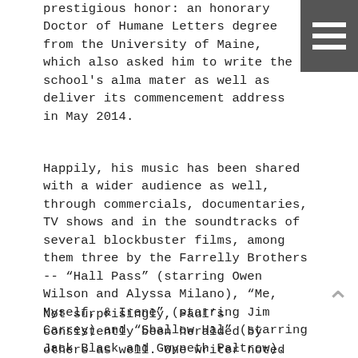prestigious honor: an honorary Doctor of Humane Letters degree from the University of Maine, which also asked him to write the school's alma mater as well as deliver its commencement address in May 2014.
Happily, his music has been shared with a wider audience as well, through commercials, documentaries, TV shows and in the soundtracks of several blockbuster films, among them three by the Farrelly Brothers -- "Hall Pass" (starring Owen Wilson and Alyssa Milano), "Me, Myself, & Irene" (starring Jim Carrey) and "Shallow Hal" (starring Jack Black and Gwyneth Paltrow). Peter Farrelly summed up the sentiments of all those who have come to know and appreciate Paul's music by referring to him as "a national treasure."
Not surprisingly, Paul's consistently been heralded by others as well. One writer noted "that it reminds you how much we need storytellers back in pop music -- storytellers with empathy, fine eyes and an understanding